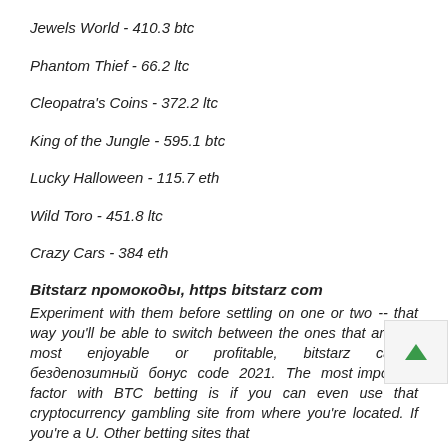Jewels World - 410.3 btc
Phantom Thief - 66.2 ltc
Cleopatra's Coins - 372.2 ltc
King of the Jungle - 595.1 btc
Lucky Halloween - 115.7 eth
Wild Toro - 451.8 ltc
Crazy Cars - 384 eth
Bitstarz промокоды, https bitstarz com
Experiment with them before settling on one or two -- that way you'll be able to switch between the ones that are the most enjoyable or profitable, bitstarz casino бездепозитный бонус code 2021. The most important factor with BTC betting is if you can even use that cryptocurrency gambling site from where you're located. If you're a U. Other betting sites that